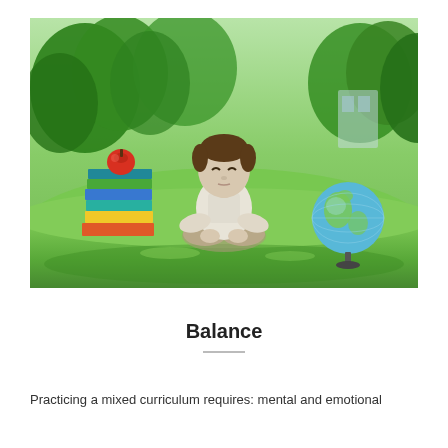[Figure (photo): A young boy sitting cross-legged in a meditation pose on green grass outdoors. To his left is a stack of colorful books topped with a red apple. To his right is a small globe on a stand. Green trees are visible in the background.]
Balance
Practicing a mixed curriculum requires: mental and emotional